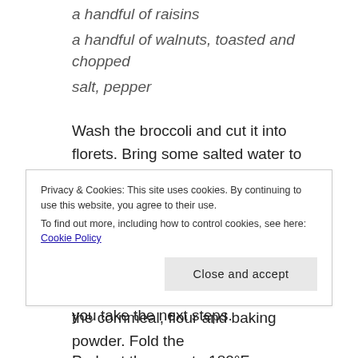a handful of raisins
a handful of walnuts, toasted and chopped
salt, pepper
Wash the broccoli and cut it into florets. Bring some salted water to a boil in a large saucepan, add in the broccoli and let simmer for 8 minutes, until cooked but not limp. Drain and run cold water on it to stop the cooking. Set aside in a colander to drain thoroughly while you take the next steps.
Preheat the oven to 180°F (360°F). Grease a 20 cm (8-inch) cake pan, unless it's nonstick.
Privacy & Cookies: This site uses cookies. By continuing to use this website, you agree to their use.
To find out more, including how to control cookies, see here: Cookie Policy
the cornmeal, flour and baking powder. Fold the